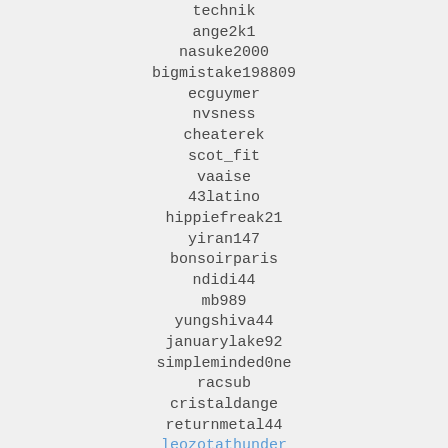technik
ange2k1
nasuke2000
bigmistake198809
ecguymer
nvsness
cheaterek
scot_fit
vaaise
43latino
hippiefreak21
yiran147
bonsoirparis
ndidi44
mb989
yungshiva44
januarylake92
simpleminded0ne
racsub
cristaldange
returnmetal44
leozotathunder
alessio001
jim5454